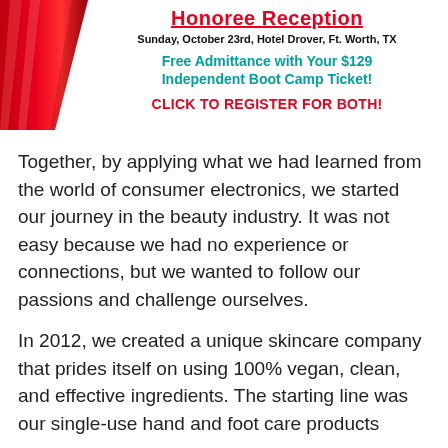[Figure (illustration): Red diagonal ribbon/banner graphic in the top-left corner of the page]
Honoree Reception
Sunday, October 23rd, Hotel Drover, Ft. Worth, TX
Free Admittance with Your $129 Independent Boot Camp Ticket!
CLICK TO REGISTER FOR BOTH!
Together, by applying what we had learned from the world of consumer electronics, we started our journey in the beauty industry. It was not easy because we had no experience or connections, but we wanted to follow our passions and challenge ourselves.
In 2012, we created a unique skincare company that prides itself on using 100% vegan, clean, and effective ingredients. The starting line was our single-use hand and foot care products